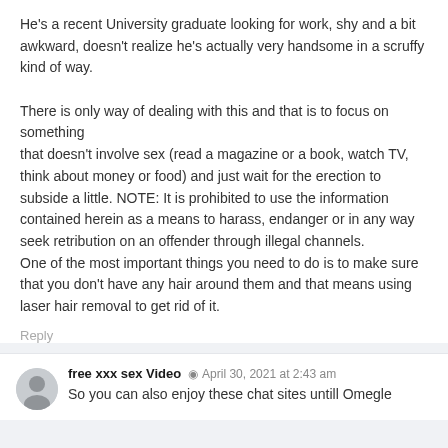He's a recent University graduate looking for work, shy and a bit awkward, doesn't realize he's actually very handsome in a scruffy kind of way.

There is only way of dealing with this and that is to focus on something that doesn't involve sex (read a magazine or a book, watch TV, think about money or food) and just wait for the erection to subside a little. NOTE: It is prohibited to use the information contained herein as a means to harass, endanger or in any way seek retribution on an offender through illegal channels.
One of the most important things you need to do is to make sure that you don't have any hair around them and that means using laser hair removal to get rid of it.
Reply
free xxx sex Video  April 30, 2021 at 2:43 am
So you can also enjoy these chat sites untill Omegle